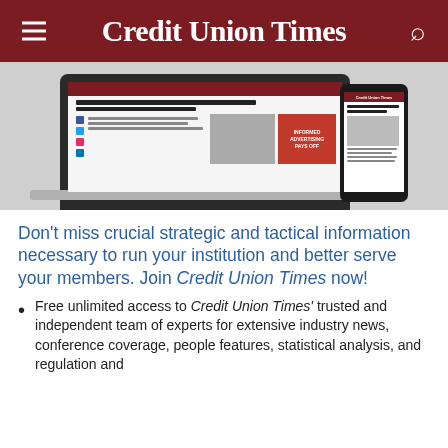Credit Union Times
[Figure (screenshot): Screenshot of Credit Union Times website displayed on a laptop and a smartphone. The article headline reads 'NCUA Board to Consider Review Committee, Appeals & Merger Rules'. The laptop shows the full webpage and the phone shows the mobile version.]
Don't miss crucial strategic and tactical information necessary to run your institution and better serve your members. Join Credit Union Times now!
Free unlimited access to Credit Union Times' trusted and independent team of experts for extensive industry news, conference coverage, people features, statistical analysis, and regulation and